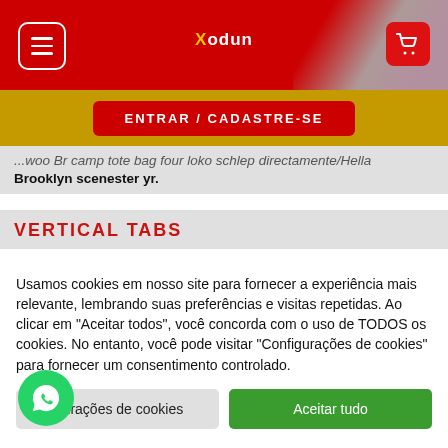[Figure (screenshot): Red navigation header bar with hamburger menu button on left, Xodun logo in center, and red cart button on right. Golden/yellow bar below with red ENTRAR / CADASTRE-SE button.]
...woo Br camp tote bag four loko schlep directamente Hella Brooklyn scenester yr.
VERTICAL TABS
Usamos cookies em nosso site para fornecer a experiência mais relevante, lembrando suas preferências e visitas repetidas. Ao clicar em "Aceitar todos", você concorda com o uso de TODOS os cookies. No entanto, você pode visitar "Configurações de cookies" para fornecer um consentimento controlado.
igurações de cookies | Aceitar tudo